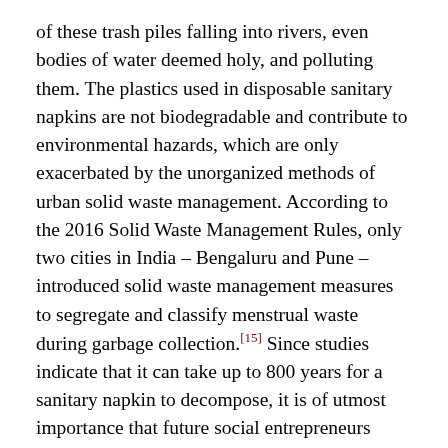of these trash piles falling into rivers, even bodies of water deemed holy, and polluting them. The plastics used in disposable sanitary napkins are not biodegradable and contribute to environmental hazards, which are only exacerbated by the unorganized methods of urban solid waste management. According to the 2016 Solid Waste Management Rules, only two cities in India – Bengaluru and Pune – introduced solid waste management measures to segregate and classify menstrual waste during garbage collection.[15] Since studies indicate that it can take up to 800 years for a sanitary napkin to decompose, it is of utmost importance that future social entrepreneurs continue to look toward biodegradable and affordable menstrual hygiene solutions.[16]
Increasing women's access to the political sphere and ability to use their voice in policy decisions will allow women to advocate for sanitary napkins and adequate